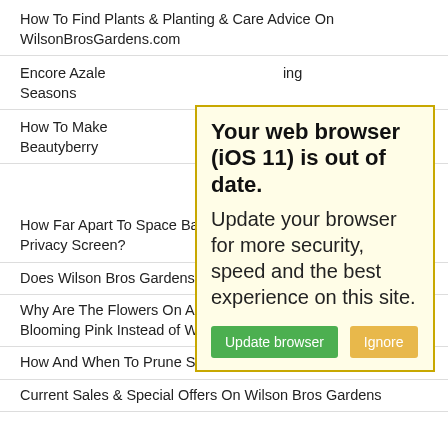How To Find Plants & Planting & Care Advice On WilsonBrosGardens.com
Encore Azale... ing Seasons
How To Make... a Beautyberry
[Figure (screenshot): Browser warning popup with yellow background and gold border. Title: 'Your web browser (iOS 11) is out of date.' Body: 'Update your browser for more security, speed and the best experience on this site.' Two buttons: green 'Update browser' and orange 'Ignore'.]
How Far Apart To Space Bamboo Plants For A Hedge Or Privacy Screen?
Does Wilson Bros Gardens Sell On Ebay?
Why Are The Flowers On Autumn Twist Encore Azaleas Blooming Pink Instead of White?
How And When To Prune Sunrosa Roses
Current Sales & Special Offers On Wilson Bros Gardens